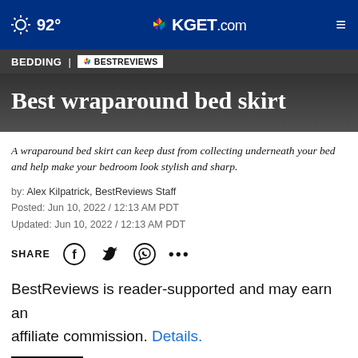92° KGET.com
BEDDING | BESTREVIEWS
Best wraparound bed skirt
A wraparound bed skirt can keep dust from collecting underneath your bed and help make your bedroom look stylish and sharp.
by: Alex Kilpatrick, BestReviews Staff
Posted: Jun 10, 2022 / 12:13 AM PDT
Updated: Jun 10, 2022 / 12:13 AM PDT
SHARE
BestReviews is reader-supported and may earn an affiliate commission. Details.